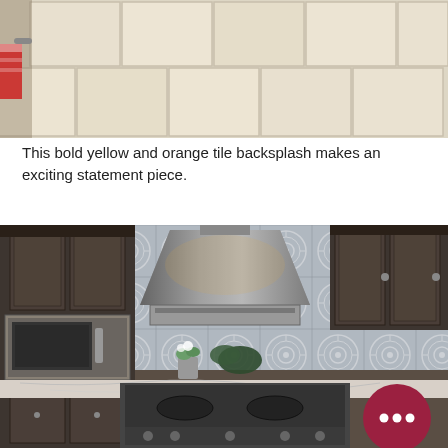[Figure (photo): Top-down view of light beige/cream large-format ceramic floor tiles laid in a brick pattern, with a paper towel holder and red towel visible on the left edge.]
This bold yellow and orange tile backsplash makes an exciting statement piece.
[Figure (photo): Kitchen interior with dark gray/charcoal wood cabinetry, a stainless steel range hood over a gas stove, white marble countertops, and a decorative gray and white patterned tile backsplash with circular motifs. A chat/messaging icon button is overlaid in the bottom right corner.]